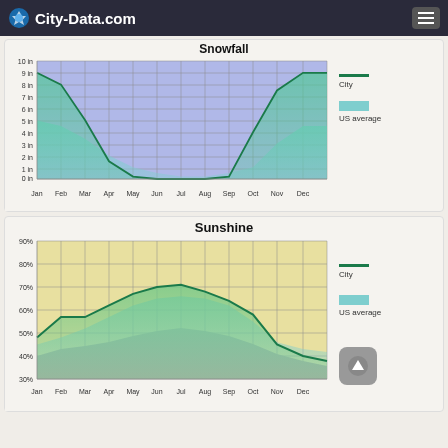City-Data.com
[Figure (area-chart): Snowfall]
[Figure (area-chart): Sunshine]